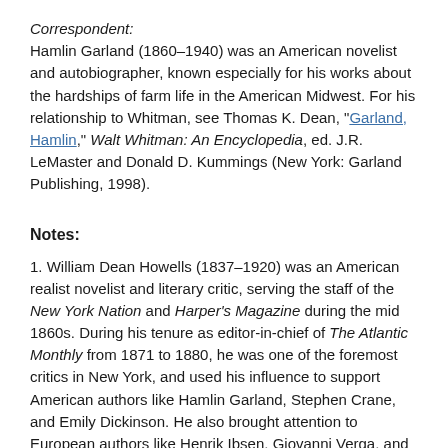Correspondent: Hamlin Garland (1860–1940) was an American novelist and autobiographer, known especially for his works about the hardships of farm life in the American Midwest. For his relationship to Whitman, see Thomas K. Dean, "Garland, Hamlin," Walt Whitman: An Encyclopedia, ed. J.R. LeMaster and Donald D. Kummings (New York: Garland Publishing, 1998).
Notes:
1. William Dean Howells (1837–1920) was an American realist novelist and literary critic, serving the staff of the New York Nation and Harper's Magazine during the mid 1860s. During his tenure as editor-in-chief of The Atlantic Monthly from 1871 to 1880, he was one of the foremost critics in New York, and used his influence to support American authors like Hamlin Garland, Stephen Crane, and Emily Dickinson. He also brought attention to European authors like Henrik Ibsen, Giovanni Verga, and Leo Tolstoy in particular. Howells was highly skeptical of Whitman's poetry, however, and